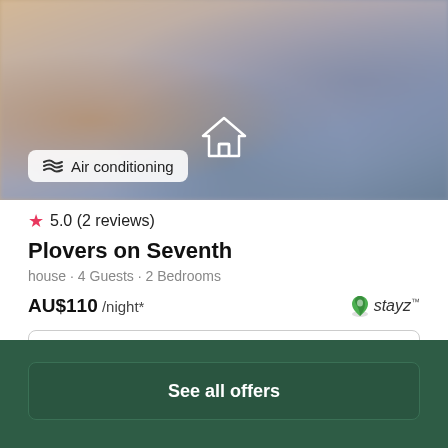[Figure (photo): Blurred interior photo of a living room with sofa; house icon overlay and air conditioning badge]
Air conditioning
★ 5.0 (2 reviews)
Plovers on Seventh
house · 4 Guests · 2 Bedrooms
AU$110 /night*
[Figure (logo): Stayz logo]
View deal
See all offers